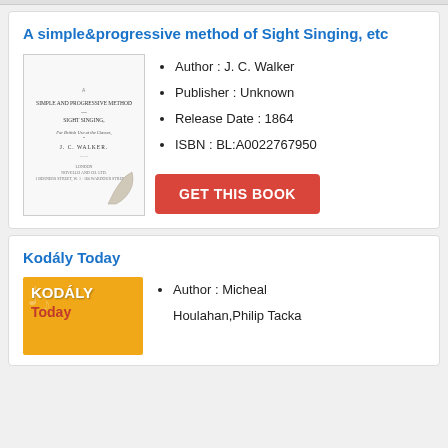A simple&progressive method of Sight Singing, etc
Author : J. C. Walker
Publisher : Unknown
Release Date : 1864
ISBN : BL:A0022767950
[Figure (illustration): Old book cover page showing 'Simple and Progressive Method of Sight Singing' by J. C. Walker with a page curl at bottom right]
Kodály Today
Author : Micheal Houlahan,Philip Tacka
[Figure (illustration): Orange book cover for Kodály Today with music note icons]